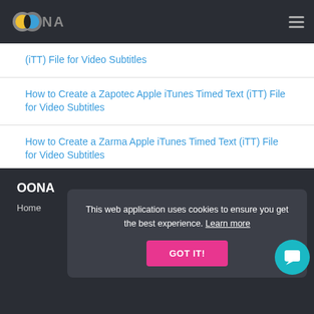[Figure (logo): OONA logo with circular yellow and blue icon and gray text]
(iTT) File for Video Subtitles
How to Create a Zapotec Apple iTunes Timed Text (iTT) File for Video Subtitles
How to Create a Zarma Apple iTunes Timed Text (iTT) File for Video Subtitles
How to Create a Zulu Apple iTunes Timed Text (iTT) File for Video Subtitles
OONA
Home
This web application uses cookies to ensure you get the best experience. Learn more
GOT IT!